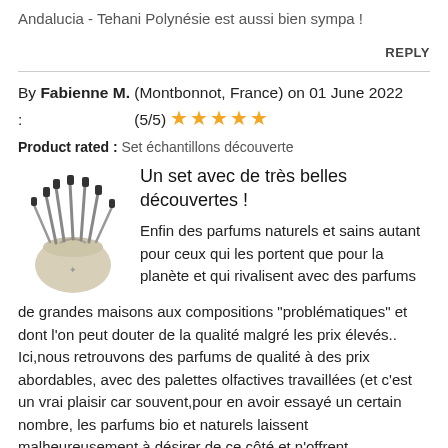Andalucia - Tehani Polynésie est aussi bien sympa !
REPLY
By Fabienne M. (Montbonnot, France) on 01 June 2022 : (5/5) ★★★★★
Product rated : Set échantillons découverte
Un set avec de très belles découvertes !
[Figure (photo): Photo of a perfume sample discovery set with small vials in a fabric pouch]
Enfin des parfums naturels et sains autant pour ceux qui les portent que pour la planète et qui rivalisent avec des parfums de grandes maisons aux compositions "problématiques" et dont l'on peut douter de la qualité malgré les prix élevés.. Ici,nous retrouvons des parfums de qualité à des prix abordables, avec des palettes olfactives travaillées (et c'est un vrai plaisir car souvent,pour en avoir essayé un certain nombre, les parfums bio et naturels laissent malheureusement à désirer de ce côté et n'offrent